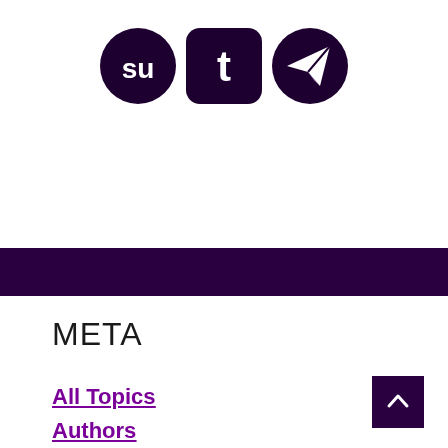[Figure (infographic): Three social media sharing icons in dark purple/black: StumbleUpon (circle with 'su' letter), Tumblr (rounded square with 't'), and Telegram (circle with paper plane icon)]
META
All Topics
Authors